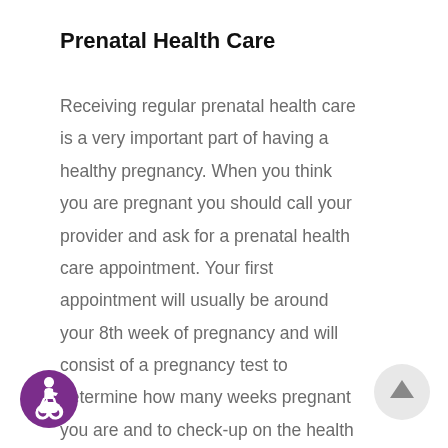Prenatal Health Care
Receiving regular prenatal health care is a very important part of having a healthy pregnancy. When you think you are pregnant you should call your provider and ask for a prenatal health care appointment. Your first appointment will usually be around your 8th week of pregnancy and will consist of a pregnancy test to determine how many weeks pregnant you are and to check-up on the health of you and your new baby. After this, a schedule of regular visits will be
[Figure (illustration): Purple circular accessibility icon showing a person in a wheelchair]
[Figure (illustration): Light gray circular scroll-to-top button with an upward arrow]